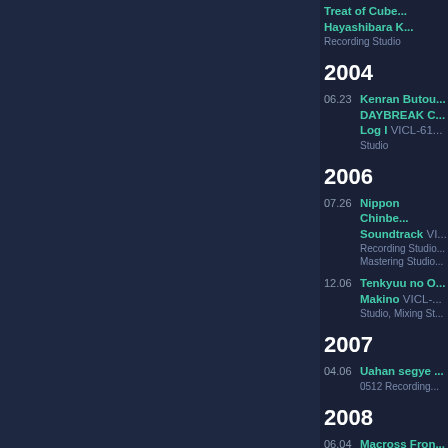04.14 Treat of Cube... Hayashibara K... Recording Studio
2004
06.23 Kenran Butou... DAYBREAK C... Log I VICL-61... Studio
2006
07.26 Nippon Chinbe... Soundtrack VI... Recording Studio... Mastering Studio
12.06 Tenkyuu no O... Makino VICL-... Studio, Mixing St...
2007
04.06 Uahan segye... 0512 Recording...
2008
06.04 Macross Fron... Furo. VTCL-6... Studio